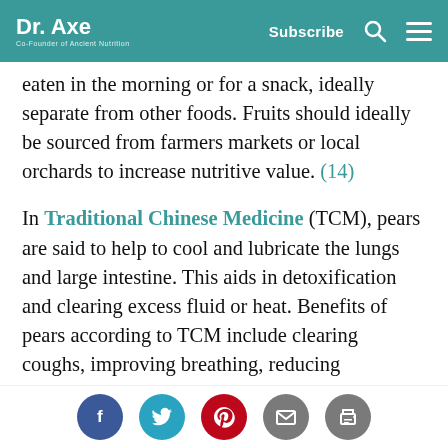Dr. Axe | Co-Founder of Ancient Nutrition | Subscribe
eaten in the morning or for a snack, ideally separate from other foods. Fruits should ideally be sourced from farmers markets or local orchards to increase nutritive value. (14)
In Traditional Chinese Medicine (TCM), pears are said to help to cool and lubricate the lungs and large intestine. This aids in detoxification and clearing excess fluid or heat. Benefits of pears according to TCM include clearing coughs, improving breathing, reducing constipation and moisturizing the skin. (15) Pears are recommended either baked or eaten fresh, depending on the climate and how well they are digested.
Social share buttons: Facebook, Twitter, Pinterest, Email, Print